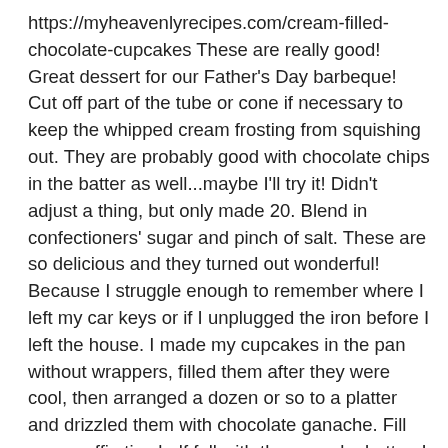https://myheavenlyrecipes.com/cream-filled-chocolate-cupcakes These are really good! Great dessert for our Father's Day barbeque! Cut off part of the tube or cone if necessary to keep the whipped cream frosting from squishing out. They are probably good with chocolate chips in the batter as well...maybe I'll try it! Didn't adjust a thing, but only made 20. Blend in confectioners' sugar and pinch of salt. These are so delicious and they turned out wonderful! Because I struggle enough to remember where I left my car keys or if I unplugged the iron before I left the house. I made my cupcakes in the pan without wrappers, filled them after they were cool, then arranged a dozen or so to a platter and drizzled them with chocolate ganache. Fill your muffin tins half full with the cupcake batter. I used butter instead of shortening for the filling and they turned out great. I used butter instead of shortening it was amazing I had a lot left over so I used it for the frosting as well. Whipped cream is filled into a piping